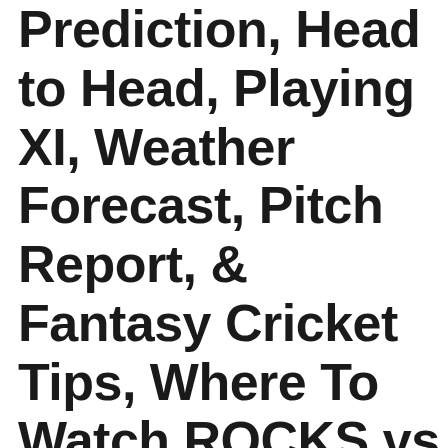Prediction, Head to Head, Playing XI, Weather Forecast, Pitch Report, & Fantasy Cricket Tips, Where To Watch ROCKS vs NWEST Live Coverage